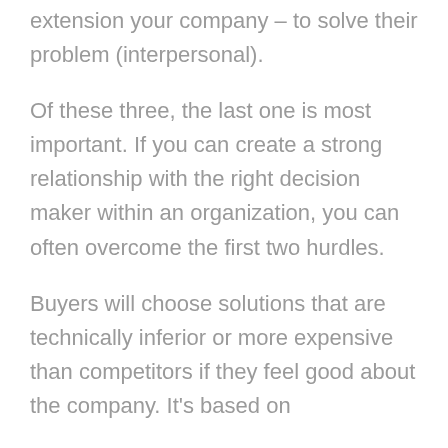extension your company – to solve their problem (interpersonal).
Of these three, the last one is most important. If you can create a strong relationship with the right decision maker within an organization, you can often overcome the first two hurdles.
Buyers will choose solutions that are technically inferior or more expensive than competitors if they feel good about the company. It's based on